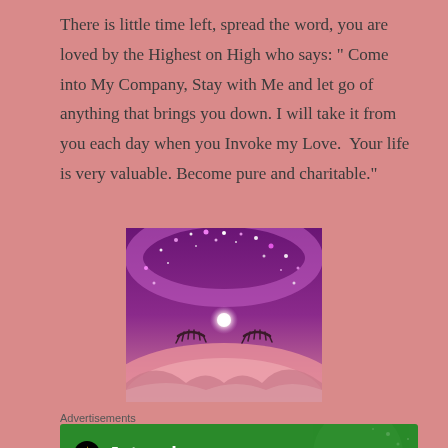There is little time left, spread the word, you are loved by the Highest on High who says: “ Come into My Company, Stay with Me and let go of anything that brings you down. I will take it from you each day when you Invoke my Love.  Your life is very valuable. Become pure and charitable.”
[Figure (illustration): A purple/pink mystical illustration showing a serene face with closed eyes, glittering stars/sparkles arching across the top, a glowing orb of light in the center of the forehead, and soft purple mountains at the bottom.]
Advertisements
[Figure (logo): Jetpack logo on a green background with white dots/sparkles on the right side. Shows a black circle with a lightning bolt icon followed by the word 'Jetpack' in white bold text.]